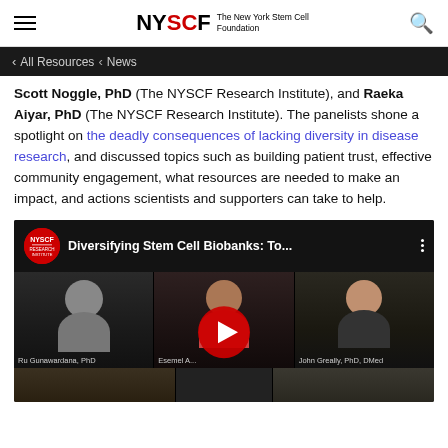NYSCF The New York Stem Cell Foundation
< All Resources < News
Scott Noggle, PhD (The NYSCF Research Institute), and Raeka Aiyar, PhD (The NYSCF Research Institute). The panelists shone a spotlight on the deadly consequences of lacking diversity in disease research, and discussed topics such as building patient trust, effective community engagement, what resources are needed to make an impact, and actions scientists and supporters can take to help.
[Figure (screenshot): YouTube video embed with title 'Diversifying Stem Cell Biobanks: To...' showing a panel discussion with multiple participants including Ru Gunawardana PhD, Esemel A..., and John Greally PhD DMed]